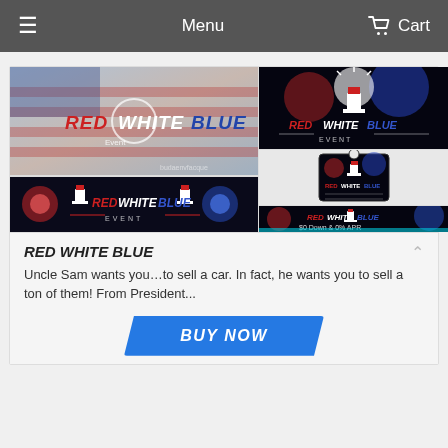Menu   Cart
[Figure (screenshot): Main product image showing 'RED WHITE BLUE' text over American flag background]
[Figure (screenshot): Thumbnail: Red White Blue Event with fireworks on dark background]
[Figure (screenshot): Thumbnail: Red White Blue hang tag on dark background]
[Figure (screenshot): Banner image: Red White Blue Event banner with fireworks]
[Figure (screenshot): Thumbnail: Red White Blue Event $0 Down & 0% APR promotional image]
RED WHITE BLUE
Uncle Sam wants you…to sell a car. In fact, he wants you to sell a ton of them! From President...
BUY NOW